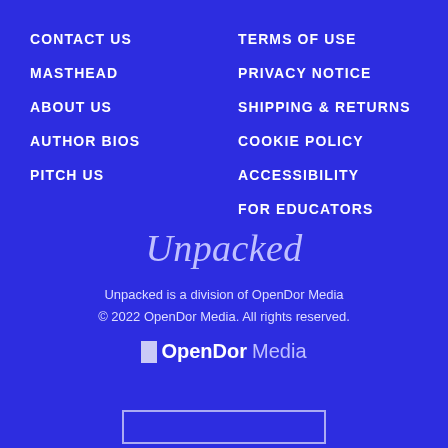CONTACT US
MASTHEAD
ABOUT US
AUTHOR BIOS
PITCH US
TERMS OF USE
PRIVACY NOTICE
SHIPPING & RETURNS
COOKIE POLICY
ACCESSIBILITY
FOR EDUCATORS
Unpacked
Unpacked is a division of OpenDor Media
© 2022 OpenDor Media. All rights reserved.
[Figure (logo): OpenDor Media logo with small white icon and bold text]